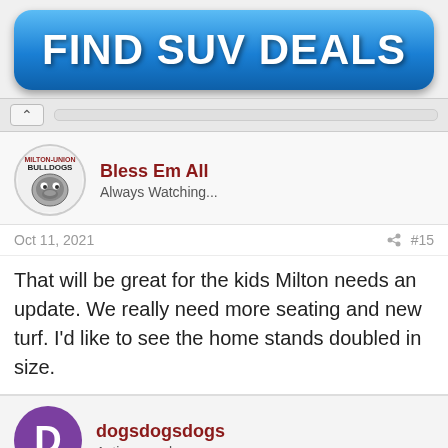[Figure (infographic): Blue rounded button advertisement banner with white bold text reading FIND SUV DEALS]
Bless Em All
Always Watching...
Oct 11, 2021
#15
That will be great for the kids Milton needs an update. We really need more seating and new turf. I'd like to see the home stands doubled in size.
dogsdogsdogs
Active member
Oct 11, 2021
#16